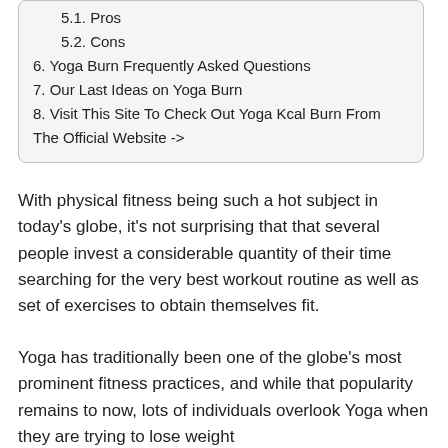5.1. Pros
5.2. Cons
6. Yoga Burn Frequently Asked Questions
7. Our Last Ideas on Yoga Burn
8. Visit This Site To Check Out Yoga Kcal Burn From The Official Website ->
With physical fitness being such a hot subject in today's globe, it's not surprising that that several people invest a considerable quantity of their time searching for the very best workout routine as well as set of exercises to obtain themselves fit.
Yoga has traditionally been one of the globe's most prominent fitness practices, and while that popularity remains to now, lots of individuals overlook Yoga when they are trying to lose weight